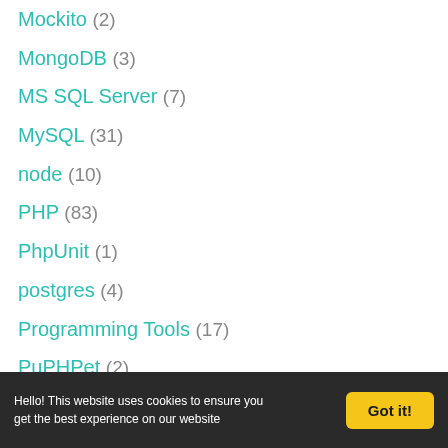Mockito (2)
MongoDB (3)
MS SQL Server (7)
MySQL (31)
node (10)
PHP (83)
PhpUnit (1)
postgres (4)
Programming Tools (17)
PuPHPet (2)
Hello! This website uses cookies to ensure you get the best experience on our website  Got it!